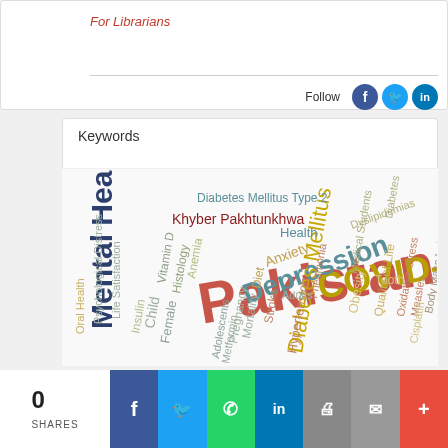For Librarians
Follow
Keywords
[Figure (infographic): Word cloud of medical keywords including Pakistan (largest), Mental Health, COVID-19, Depression, Diabetes Mellitus, Khyber Pakhtunkhwa, Diabetes Mellitus Type 2, Anxiety, Hypertension, Quality of Life, Body Mass Index, Oxidative Stress, Medical Students, Dyslipidemias, Obesity, Pneumonia, Tooth, Measles, Cisplatin, Metformin, Adolescents, Mortality, Pregnancy, Stroke, Adults, Diet, Anemia, Histology, Vitamin D, Insulin, Child, Female, Psychological Distress, Life Satisfaction, Oral Health]
0
SHARES